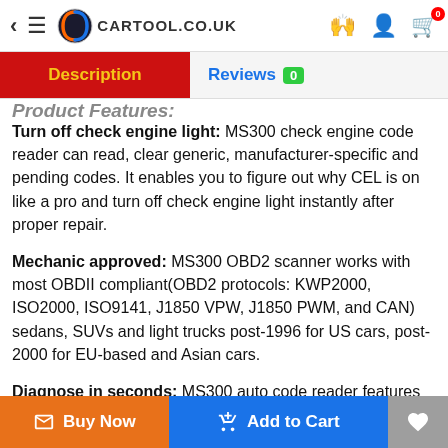CARTOOL.CO.UK
Product Features:
Turn off check engine light: MS300 check engine code reader can read, clear generic, manufacturer-specific and pending codes. It enables you to figure out why CEL is on like a pro and turn off check engine light instantly after proper repair.
Mechanic approved: MS300 OBD2 scanner works with most OBDII compliant(OBD2 protocols: KWP2000, ISO2000, ISO9141, J1850 VPW, J1850 PWM, and CAN) sedans, SUVs and light trucks post-1996 for US cars, post-2000 for EU-based and Asian cars.
Diagnose in seconds: MS300 auto code reader features